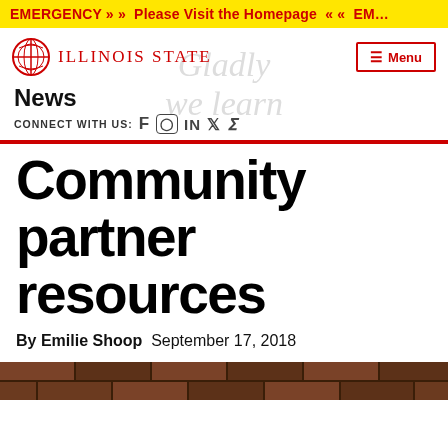EMERGENCY » » Please Visit the Homepage « « EM…
[Figure (logo): Illinois State University logo with circular seal and text 'Illinois State']
News
CONNECT WITH US: f  in
Community partner resources
By Emilie Shoop  September 17, 2018
[Figure (photo): Bottom strip of brick wall image, partially visible]